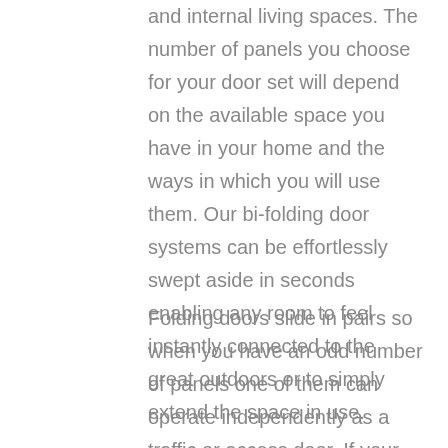and internal living spaces. The number of panels you choose for your door set will depend on the available space you have in your home and the ways in which you will use them. Our bi-folding door systems can be effortlessly swept aside in seconds enabling any room to feel instantly connected to the great outdoors or to simply extend the space in use.
Folding doors slide in pairs so when you have an odd number of panels one of them can operate independently as a traffic or access door. If your door is a main exit point for your property then it is advised to include an access leaf in your